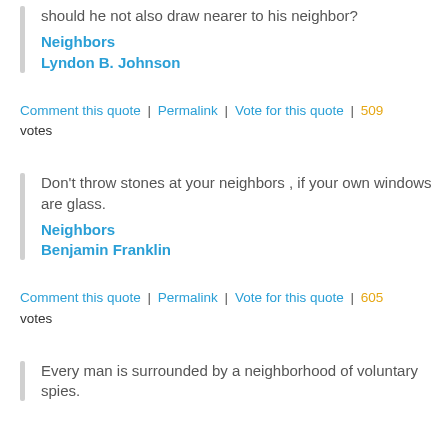should he not also draw nearer to his neighbor? Neighbors Lyndon B. Johnson
Comment this quote | Permalink | Vote for this quote | 509 votes
Don't throw stones at your neighbors , if your own windows are glass. Neighbors Benjamin Franklin
Comment this quote | Permalink | Vote for this quote | 605 votes
Every man is surrounded by a neighborhood of voluntary spies.